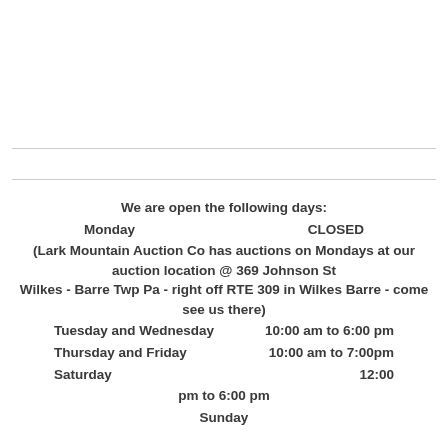We are open the following days:
Monday    CLOSED
(Lark Mountain Auction Co has auctions on Mondays at our auction location @ 369 Johnson St Wilkes - Barre Twp Pa - right off RTE 309 in Wilkes Barre - come see us there)
Tuesday and Wednesday    10:00 am to 6:00 pm
Thursday and Friday    10:00 am to 7:00pm
Saturday    12:00 pm to 6:00 pm
Sunday